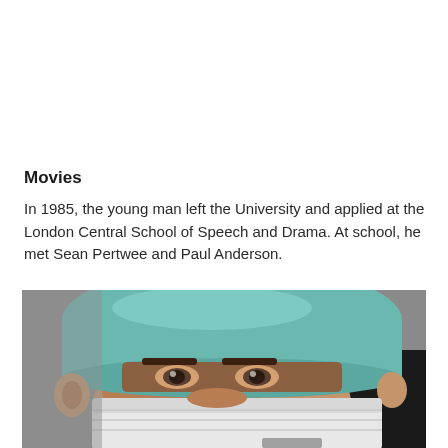Movies
In 1985, the young man left the University and applied at the London Central School of Speech and Drama. At school, he met Sean Pertwee and Paul Anderson.
[Figure (photo): Close-up photo of a person wearing a teal/blue surgical cap and white surgical mask, looking toward the camera.]